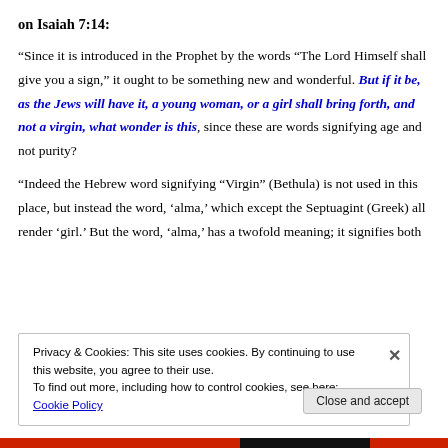on Isaiah 7:14:
“Since it is introduced in the Prophet by the words “The Lord Himself shall give you a sign,” it ought to be something new and wonderful. But if it be, as the Jews will have it, a young woman, or a girl shall bring forth, and not a virgin, what wonder is this, since these are words signifying age and not purity?
“Indeed the Hebrew word signifying “Virgin” (Bethula) is not used in this place, but instead the word, ‘alma,’ which except the Septuagint (Greek) all render ‘girl.’ But the word, ‘alma,’ has a twofold meaning; it signifies both
Privacy & Cookies: This site uses cookies. By continuing to use this website, you agree to their use.
To find out more, including how to control cookies, see here: Cookie Policy